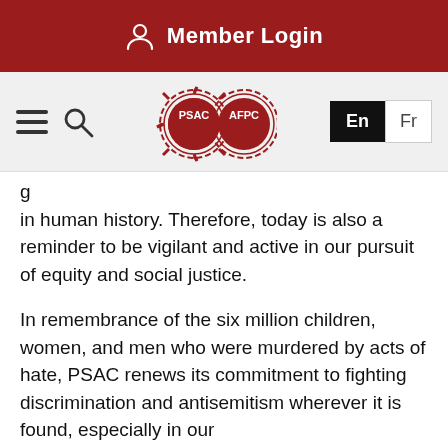Member Login
[Figure (logo): PSAC AFPC dual gear logo with navigation bar including hamburger menu, search icon, and En/Fr language switcher]
in human history. Therefore, today is also a reminder to be vigilant and active in our pursuit of equity and social justice.
In remembrance of the six million children, women, and men who were murdered by acts of hate, PSAC renews its commitment to fighting discrimination and antisemitism wherever it is found, especially in our